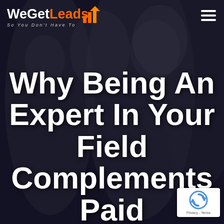[Figure (photo): Dark background with blurred people in an office/call center environment, semi-transparent dark overlay]
WeGetLeads So You Don't Have To
Why Being An Expert In Your Field Complements Paid Marketing
[Figure (logo): reCAPTCHA badge with blue circular arrow logo, Privacy - Terms text]